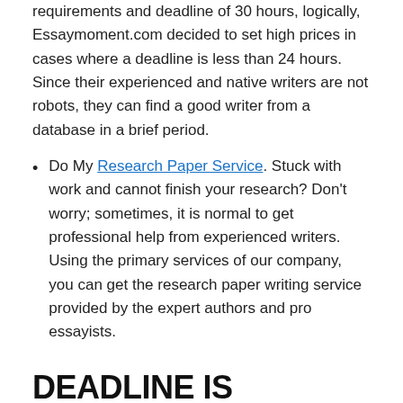requirements and deadline of 30 hours, logically, Essaymoment.com decided to set high prices in cases where a deadline is less than 24 hours. Since their experienced and native writers are not robots, they can find a good writer from a database in a brief period.
Do My Research Paper Service. Stuck with work and cannot finish your research? Don't worry; sometimes, it is normal to get professional help from experienced writers. Using the primary services of our company, you can get the research paper writing service provided by the expert authors and pro essayists.
DEADLINE IS TOMORROW AND I NEED MY RESEARCH PAPER
If you have a deadline tomorrow, it is still possible to order and purchase research paper on the site. All you need to do